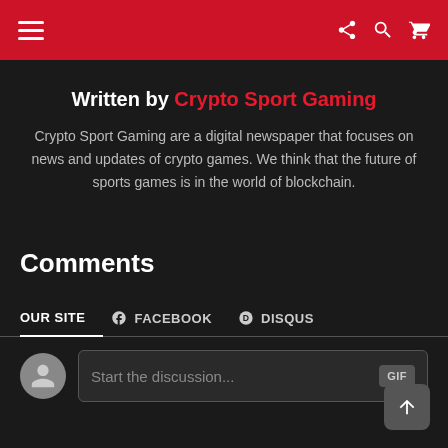Navigation bar with hamburger menu, share, search, and cart icons
Written by Crypto Sport Gaming
Crypto Sport Gaming are a digital newspaper that focuses on news and updates of crypto games. We think that the future of sports games is in the world of blockchain.
Comments
OUR SITE | FACEBOOK | DISQUS
Start the discussion...